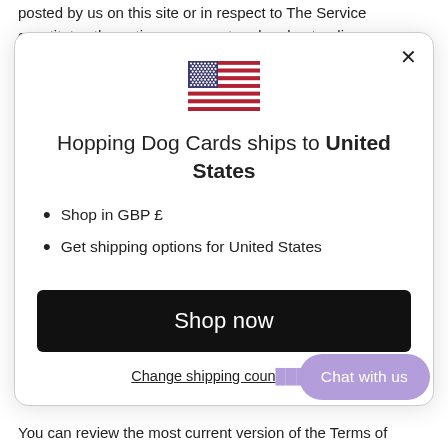posted by us on this site or in respect to The Service constitutes the entire agreement and understanding
[Figure (illustration): US flag emoji/icon]
Hopping Dog Cards ships to United States
Shop in GBP £
Get shipping options for United States
Shop now
Change shipping country
Chat with us
You can review the most current version of the Terms of